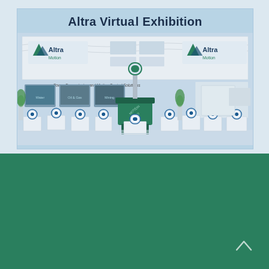[Figure (illustration): Altra Virtual Exhibition booth illustration showing a large trade show display with Altra Motion logos, product stands, monitors showing Water, Oil & Gas, and Mining sectors, a central green-draped table, various product displays with circular clickable icons, and a world map panel on the right side. Light blue background.]
Contact Us
Bauer Gear Motor GmbH
Eberhard-Bauer-Straße 37
73734 Esslingen - Germany